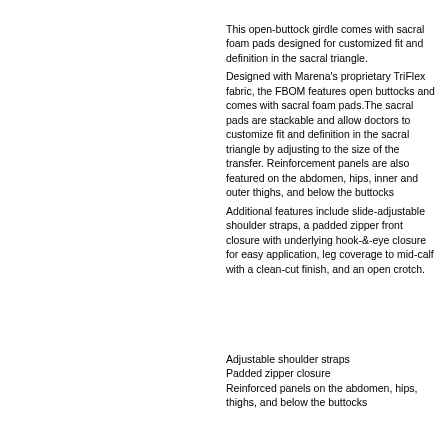[Figure (photo): Partial product photo of a compression girdle on a person, showing skin-colored fabric at the top of the right column.]
This open-buttock girdle comes with sacral foam pads designed for customized fit and definition in the sacral triangle. Designed with Marena's proprietary TriFlex fabric, the FBOM features open buttocks and comes with sacral foam pads.The sacral pads are stackable and allow doctors to customize fit and definition in the sacral triangle by adjusting to the size of the transfer. Reinforcement panels are also featured on the abdomen, hips, inner and outer thighs, and below the buttocks Additional features include slide-adjustable shoulder straps, a padded zipper front closure with underlying hook-&-eye closure for easy application, leg coverage to mid-calf with a clean-cut finish, and an open crotch.
Adjustable shoulder straps
Padded zipper closure
Reinforced panels on the abdomen, hips, thighs, and below the buttocks